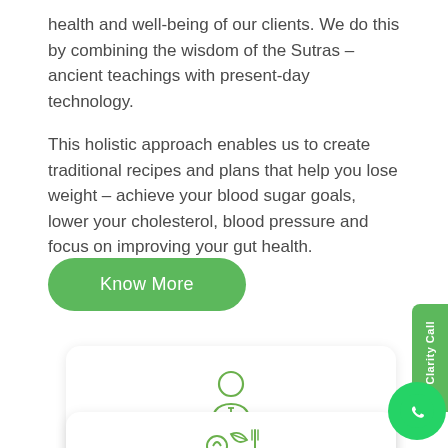health and well-being of our clients. We do this by combining the wisdom of the Sutras – ancient teachings with present-day technology.
This holistic approach enables us to create traditional recipes and plans that help you lose weight – achieve your blood sugar goals, lower your cholesterol, blood pressure and focus on improving your gut health.
[Figure (other): Green rounded rectangle button with white text 'Know More']
[Figure (illustration): Card with green outline illustration of a female dietitian figure and label 'Qualified Dietitian']
[Figure (illustration): Card with green outline icon of food/nutrition illustration (partially visible at bottom)]
[Figure (other): Green sidebar tab with rotated text 'E Clarity Call' and WhatsApp circular button]